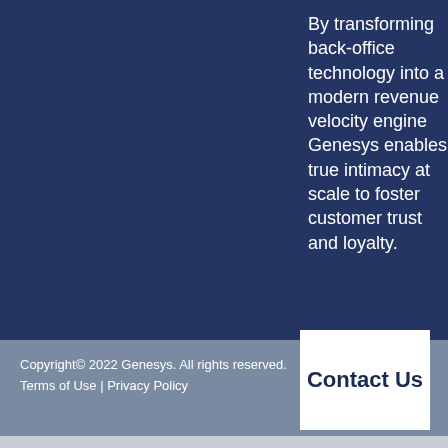By transforming back-office technology into a modern revenue velocity engine Genesys enables true intimacy at scale to foster customer trust and loyalty.
Copyright© 2022 Genesys. All rights reserved. Terms of Use | Privacy Policy
Contact Us